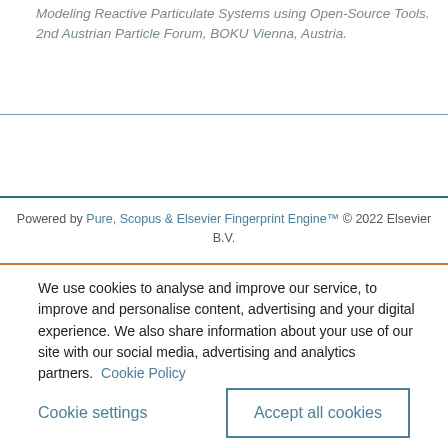Modeling Reactive Particulate Systems using Open-Source Tools. 2nd Austrian Particle Forum, BOKU Vienna, Austria.
Powered by Pure, Scopus & Elsevier Fingerprint Engine™ © 2022 Elsevier B.V.
We use cookies to analyse and improve our service, to improve and personalise content, advertising and your digital experience. We also share information about your use of our site with our social media, advertising and analytics partners.  Cookie Policy
Cookie settings
Accept all cookies